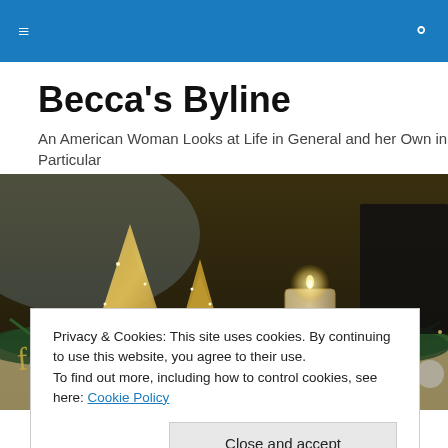☰  🔍
Becca's Byline
An American Woman Looks at Life in General and her Own in Particular
[Figure (photo): Holiday centerpiece with gold glittery trees, a white candle, pine branches, and decorative 'faith' word art on a table]
Privacy & Cookies: This site uses cookies. By continuing to use this website, you agree to their use.
To find out more, including how to control cookies, see here: Cookie Policy

Close and accept
are what's behind our frantic searches for the perfect gifts